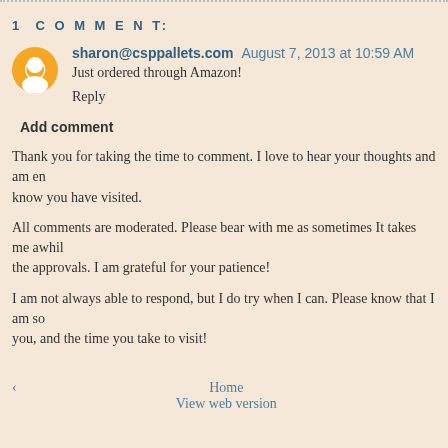1 COMMENT:
sharon@csppallets.com  August 7, 2013 at 10:59 AM
Just ordered through Amazon!
Reply
Add comment
Thank you for taking the time to comment. I love to hear your thoughts and am en... know you have visited.
All comments are moderated. Please bear with me as sometimes It takes me awhil... the approvals. I am grateful for your patience!
I am not always able to respond, but I do try when I can. Please know that I am so... you, and the time you take to visit!
‹   Home   View web version